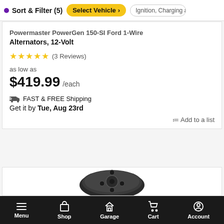Sort & Filter (5) | Select Vehicle > | Ignition, Charging an
Powermaster PowerGen 150-SI Ford 1-Wire Alternators, 12-Volt
★★★★★ (3 Reviews)
as low as
$419.99 /each
🚚 FAST & FREE Shipping
Get it by Tue, Aug 23rd
≔ Add to a list
[Figure (photo): Partial product image of an alternator, dark metallic component visible at bottom of card]
Menu | Shop | Garage | Cart | Account